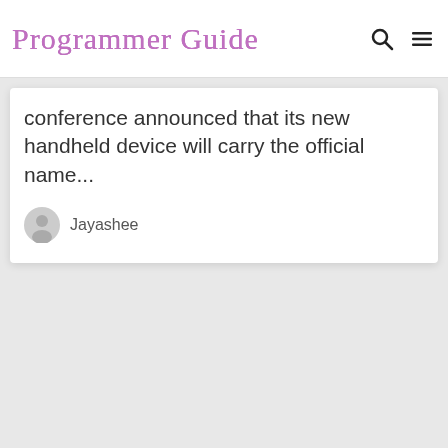Programmer Guide
conference announced that its new handheld device will carry the official name...
Jayashee